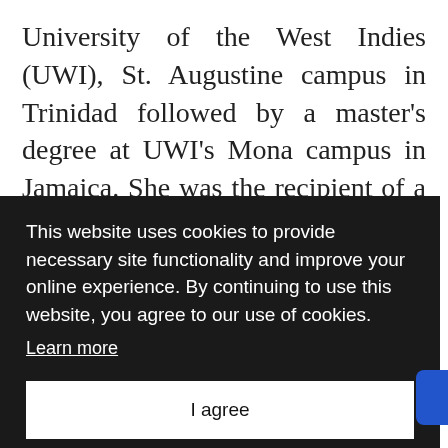University of the West Indies (UWI), St. Augustine campus in Trinidad followed by a master's degree at UWI's Mona campus in Jamaica. She was the recipient of a LASPAU Fulbright scholarship to The Ohio State
This website uses cookies to provide necessary site functionality and improve your online experience. By continuing to use this website, you agree to our use of cookies.
Learn more
I agree
(CSA). In addition to being a member of